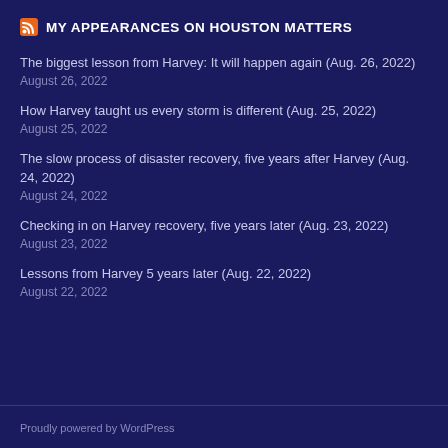MY APPEARANCES ON HOUSTON MATTERS
The biggest lesson from Harvey: It will happen again (Aug. 26, 2022)
August 26, 2022
How Harvey taught us every storm is different (Aug. 25, 2022)
August 25, 2022
The slow process of disaster recovery, five years after Harvey (Aug. 24, 2022)
August 24, 2022
Checking in on Harvey recovery, five years later (Aug. 23, 2022)
August 23, 2022
Lessons from Harvey 5 years later (Aug. 22, 2022)
August 22, 2022
Proudly powered by WordPress